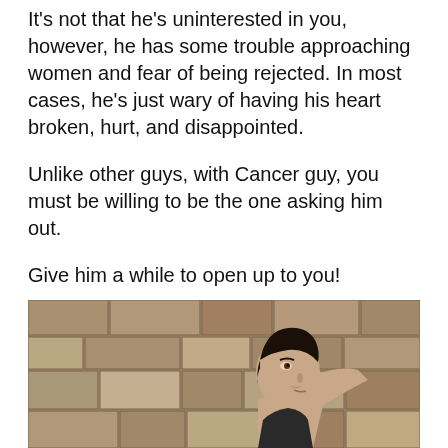It's not that he's uninterested in you, however, he has some trouble approaching women and fear of being rejected. In most cases, he's just wary of having his heart broken, hurt, and disappointed.
Unlike other guys, with Cancer guy, you must be willing to be the one asking him out.
Give him a while to open up to you!
Discover the Innermost Feelings of Cancer Man
[Figure (photo): A young dark-haired man leaning against a stone wall, looking upward, photographed from below against the stone texture.]